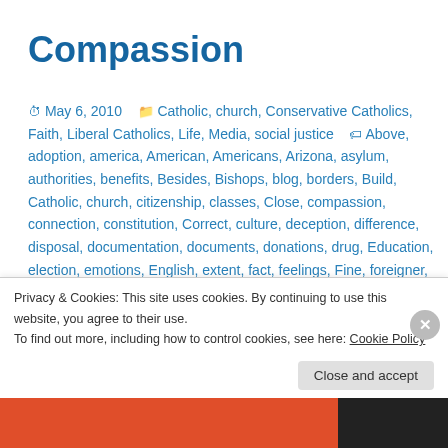Compassion
May 6, 2010  Catholic, church, Conservative Catholics, Faith, Liberal Catholics, Life, Media, social justice  Above, adoption, america, American, Americans, Arizona, asylum, authorities, benefits, Besides, Bishops, blog, borders, Build, Catholic, church, citizenship, classes, Close, compassion, connection, constitution, Correct, culture, deception, difference, disposal, documentation, documents, donations, drug, Education, election, emotions, English, extent, fact, feelings, Fine, foreigner, freedom, give, government, gratitude, great
Privacy & Cookies: This site uses cookies. By continuing to use this website, you agree to their use.
To find out more, including how to control cookies, see here: Cookie Policy
Close and accept